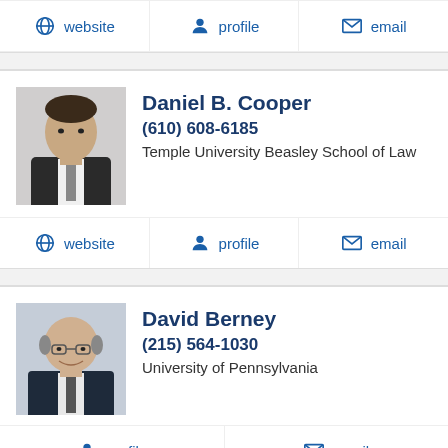[Figure (other): Action bar with website, profile, email links for previous attorney]
[Figure (photo): Headshot of Daniel B. Cooper in suit]
Daniel B. Cooper
(610) 608-6185
Temple University Beasley School of Law
[Figure (other): Action bar with website, profile, email links for Daniel B. Cooper]
[Figure (photo): Headshot of David Berney with glasses]
David Berney
(215) 564-1030
University of Pennsylvania
[Figure (other): Action bar with profile and email links for David Berney]
[Figure (photo): Partial headshot of next attorney at bottom of page]